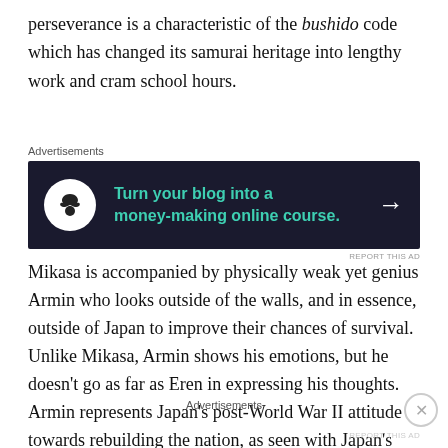perseverance is a characteristic of the bushido code which has changed its samurai heritage into lengthy work and cram school hours.
[Figure (other): Advertisement banner: dark navy background with bonsai tree icon in white circle, teal text reading 'Turn your blog into a money-making online course.' with white arrow]
Mikasa is accompanied by physically weak yet genius Armin who looks outside of the walls, and in essence, outside of Japan to improve their chances of survival. Unlike Mikasa, Armin shows his emotions, but he doesn't go as far as Eren in expressing his thoughts. Armin represents Japan's post-World War II attitude towards rebuilding the nation, as seen with Japan's quick advances in technology. Japan's advances in the public domain, such as artificial intelligence in cars via robots and Shinya
Advertisements